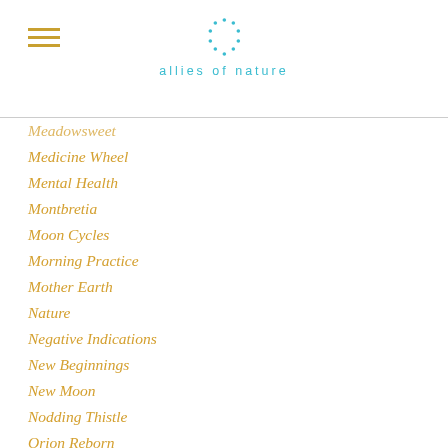allies of nature
Meadowsweet
Medicine Wheel
Mental Health
Montbretia
Moon Cycles
Morning Practice
Mother Earth
Nature
Negative Indications
New Beginnings
New Moon
Nodding Thistle
Orion Reborn
Ox-Eye Daisy
Persistence Pays
Pollution
Population Growth
Power Animal